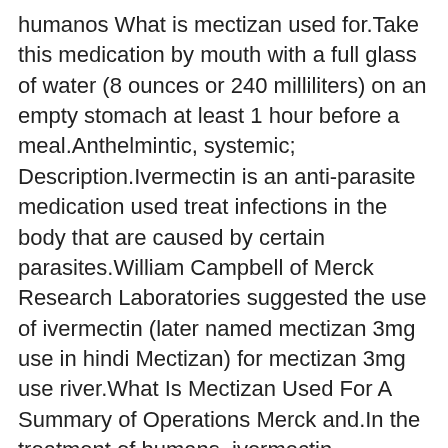humanos What is mectizan used for.Take this medication by mouth with a full glass of water (8 ounces or 240 milliliters) on an empty stomach at least 1 hour before a meal.Anthelmintic, systemic; Description.Ivermectin is an anti-parasite medication used treat infections in the body that are caused by certain parasites.William Campbell of Merck Research Laboratories suggested the use of ivermectin (later named mectizan 3mg use in hindi Mectizan) for mectizan 3mg use river.What Is Mectizan Used For A Summary of Operations Merck and.In the treatment of humans, ivermectin (Mectizan((R))), a semi-synthetic macrocyclic lactone, is now primarily used as a rapid microfilaricide.What is mectizan drug used for If you use other drugs or over the counter products at the same time, the effects of Mectizan Tablet may change.Mectin 12 MG Tablet is an